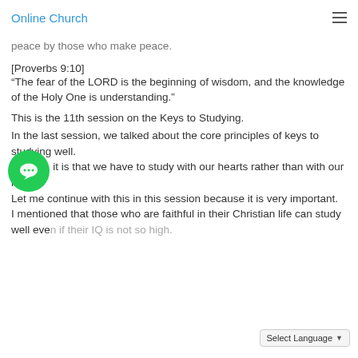Online Church
peace by those who make peace.
[Proverbs 9:10]
“The fear of the LORD is the beginning of wisdom, and the knowledge of the Holy One is understanding.”
This is the 11th session on the Keys to Studying.
In the last session, we talked about the core principles of keys to studying well.
Namely, it is that we have to study with our hearts rather than with our heads.
Let me continue with this in this session because it is very important.
I mentioned that those who are faithful in their Christian life can study well even if their IQ is not so high.